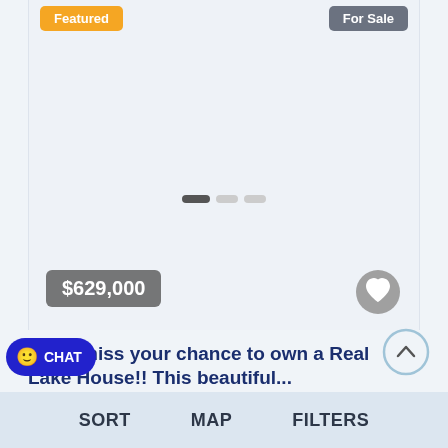[Figure (screenshot): Real estate listing card showing a property image area with Featured and For Sale badges, carousel pagination dots, price badge showing $629,000, and a heart/favorite button.]
Featured
For Sale
$629,000
Don't miss your chance to own a Real Lake House!! This beautiful...
Sleepy Hollow Lake , Coxsackie , New York
SORT   MAP   FILTERS